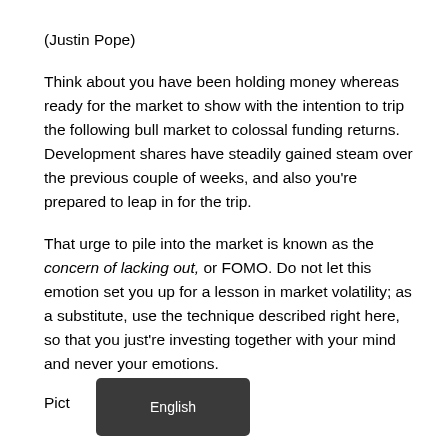(Justin Pope)
Think about you have been holding money whereas ready for the market to show with the intention to trip the following bull market to colossal funding returns. Development shares have steadily gained steam over the previous couple of weeks, and also you're prepared to leap in for the trip.
That urge to pile into the market is known as the concern of lacking out, or FOMO. Do not let this emotion set you up for a lesson in market volatility; as a substitute, use the technique described right here, so that you just're investing together with your mind and never your emotions.
Picture source: Getty Photos.